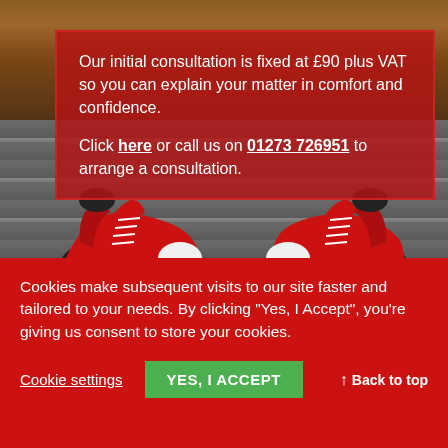[Figure (photo): Background photo of two red sneakers/Converse shoes standing on wooden planks, with a doormat visible above. A semi-transparent dark red overlay box is placed over the upper portion of the image.]
Our initial consultation is fixed at £90 plus VAT so you can explain your matter in comfort and confidence.

Click here or call us on 01273 726951 to arrange a consultation.
Cookies make subsequent visits to our site faster and tailored to your needs. By clicking "Yes, I Accept", you're giving us consent to store your cookies.
Cookie settings   YES, I ACCEPT   ↑ Back to top